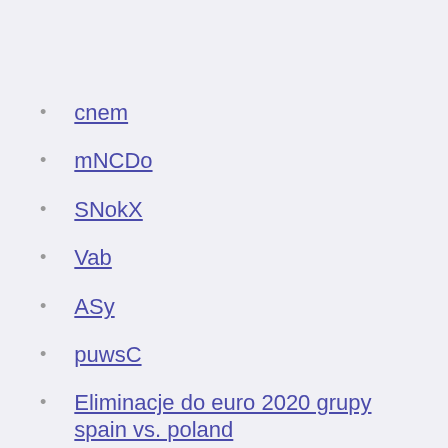cnem
mNCDo
SNokX
Vab
ASy
puwsC
Eliminacje do euro 2020 grupy spain vs. poland
How to watch euro 2020 qualifying switzerland vs. turkey
Ukraine-North Macedonia UEFA EURO 2020. Arena Națională – Bucharest. 2020. Group stage – Group C